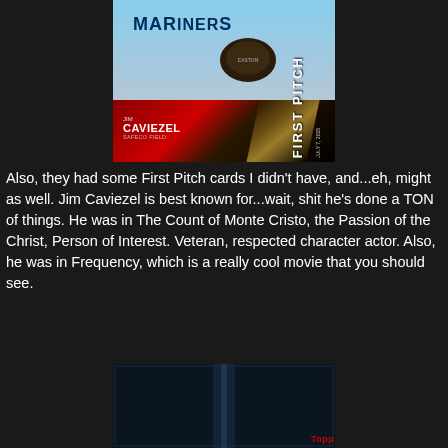[Figure (photo): Baseball trading card featuring Jim Caviezel in a Seattle Mariners uniform. The card shows 'FIRST PITCH' with the date July 7, 2015 and venue 'SAFECO FIELD'. Bottom of card shows his name CAVIEZEL in bold white text on a red/black diagonal stripe background.]
Also, they had some First Pitch cards I didn't have, and...eh, might as well. Jim Caviezel is best known for...wait, shit he's done a TON of things. He was in The Count of Monte Cristo, the Passion of the Christ, Person of Interest. Veteran, respected character actor. Also, he was in Frequency, which is a really cool movie that you should see.
[Figure (photo): Partial view of another trading card at the bottom of the page, showing dark blue/navy background with what appears to be a baseball card, Topps logo visible in lower right corner.]